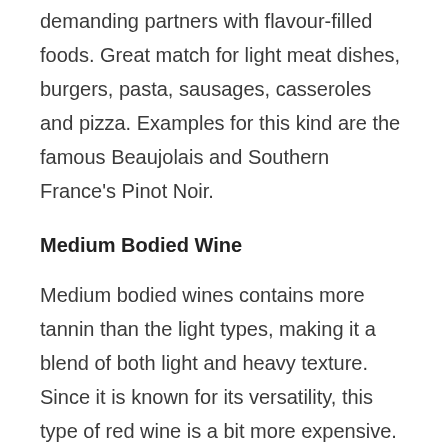demanding partners with flavour-filled foods. Great match for light meat dishes, burgers, pasta, sausages, casseroles and pizza. Examples for this kind are the famous Beaujolais and Southern France's Pinot Noir.
Medium Bodied Wine
Medium bodied wines contains more tannin than the light types, making it a blend of both light and heavy texture. Since it is known for its versatility, this type of red wine is a bit more expensive. Foods that best match medium bodied wines are spicy meat dishes, roast chicken, grilled meats, lamb, turkey or salmon. The best of this kind are the California